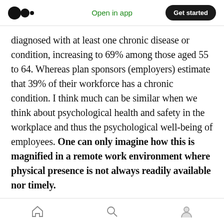Medium app header — Open in app | Get started
diagnosed with at least one chronic disease or condition, increasing to 69% among those aged 55 to 64. Whereas plan sponsors (employers) estimate that 39% of their workforce has a chronic condition. I think much can be similar when we think about psychological health and safety in the workplace and thus the psychological well-being of employees. One can only imagine how this is magnified in a remote work environment where physical presence is not always readily available nor timely.
Bottom navigation bar — Home, Search, Profile